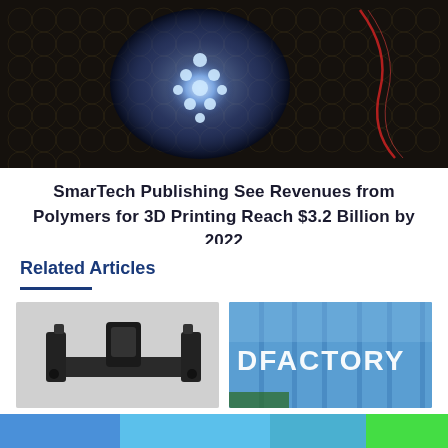[Figure (photo): Dark background with glowing blue molecular or cellular structures and a red line/laser element on a mesh grid]
SmarTech Publishing See Revenues from Polymers for 3D Printing Reach $3.2 Billion by 2022
Related Articles
[Figure (photo): Black 3D printed plastic frame/bracket component on white background]
[Figure (photo): Building with DFACTORY text on blue glass facade]